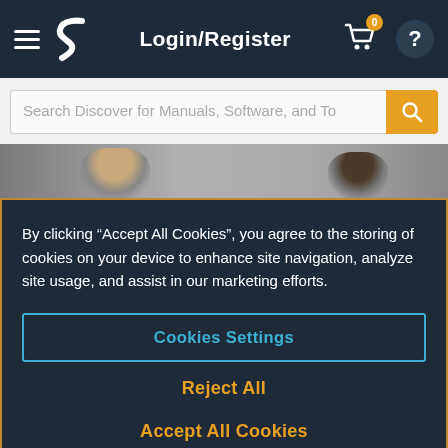Login/Register
Search Discover for Manuals, Software, and To
[Figure (photo): Two people in an office setting, partially visible behind a cookie consent overlay]
By clicking “Accept All Cookies”, you agree to the storing of cookies on your device to enhance site navigation, analyze site usage, and assist in our marketing efforts.
Cookies Settings
Reject All
Accept All Cookies